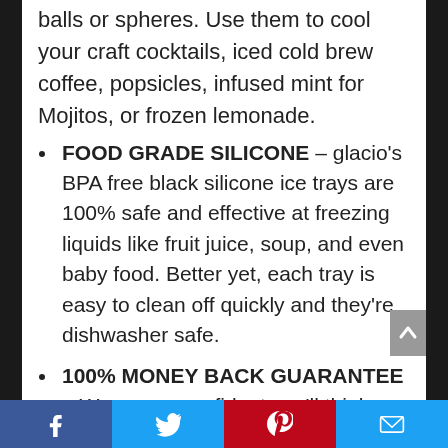balls or spheres. Use them to cool your craft cocktails, iced cold brew coffee, popsicles, infused mint for Mojitos, or frozen lemonade.
FOOD GRADE SILICONE – glacio's BPA free black silicone ice trays are 100% safe and effective at freezing liquids like fruit juice, soup, and even baby food. Better yet, each tray is easy to clean off quickly and they're dishwasher safe.
100% MONEY BACK GUARANTEE – We are so confident you'll think we have the best silicone ice molds on the market that we make every
[Figure (other): Social sharing bar at the bottom with Facebook, Twitter, Pinterest, and Email buttons]